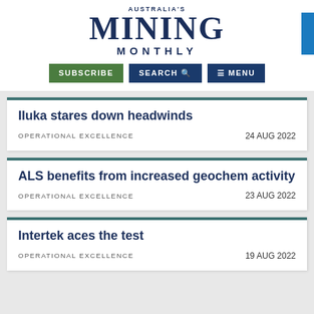AUSTRALIA'S MINING MONTHLY
Iluka stares down headwinds
OPERATIONAL EXCELLENCE   24 AUG 2022
ALS benefits from increased geochem activity
OPERATIONAL EXCELLENCE   23 AUG 2022
Intertek aces the test
OPERATIONAL EXCELLENCE   19 AUG 2022